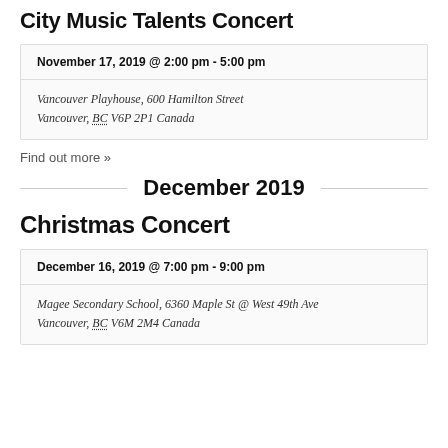City Music Talents Concert
November 17, 2019 @ 2:00 pm - 5:00 pm
Vancouver Playhouse, 600 Hamilton Street Vancouver, BC V6P 2P1 Canada
Find out more »
December 2019
Christmas Concert
December 16, 2019 @ 7:00 pm - 9:00 pm
Magee Secondary School, 6360 Maple St @ West 49th Ave Vancouver, BC V6M 2M4 Canada